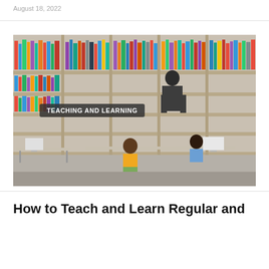August 18, 2022
[Figure (photo): Interior of a library with tall wooden shelves filled with books. A person in a suit browses books on an upper level. Two people sit at desks in the foreground: a woman in a yellow sweater seated in a chair, and a man in a blue shirt working at a computer. A label overlay reads 'TEACHING AND LEARNING'.]
How to Teach and Learn Regular and